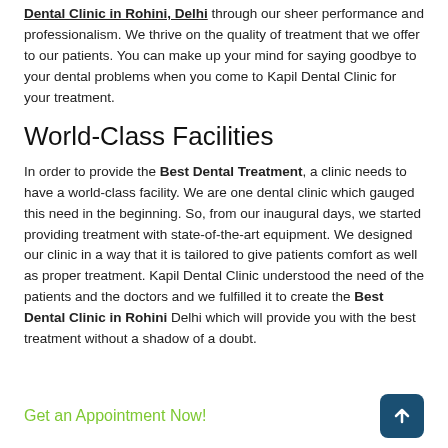Dental Clinic in Rohini, Delhi through our sheer performance and professionalism. We thrive on the quality of treatment that we offer to our patients. You can make up your mind for saying goodbye to your dental problems when you come to Kapil Dental Clinic for your treatment.
World-Class Facilities
In order to provide the Best Dental Treatment, a clinic needs to have a world-class facility. We are one dental clinic which gauged this need in the beginning. So, from our inaugural days, we started providing treatment with state-of-the-art equipment. We designed our clinic in a way that it is tailored to give patients comfort as well as proper treatment. Kapil Dental Clinic understood the need of the patients and the doctors and we fulfilled it to create the Best Dental Clinic in Rohini Delhi which will provide you with the best treatment without a shadow of a doubt.
Get an Appointment Now!